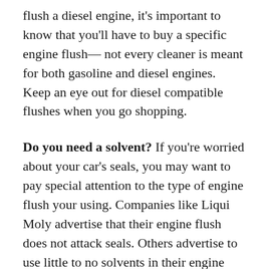flush a diesel engine, it's important to know that you'll have to buy a specific engine flush— not every cleaner is meant for both gasoline and diesel engines. Keep an eye out for diesel compatible flushes when you go shopping.
Do you need a solvent? If you're worried about your car's seals, you may want to pay special attention to the type of engine flush your using. Companies like Liqui Moly advertise that their engine flush does not attack seals. Others advertise to use little to no solvents in their engine flushes.